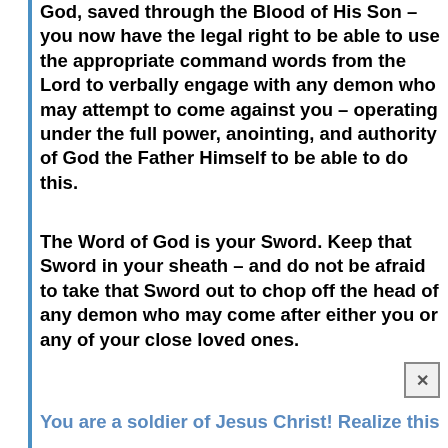God, saved through the Blood of His Son – you now have the legal right to be able to use the appropriate command words from the Lord to verbally engage with any demon who may attempt to come against you – operating under the full power, anointing, and authority of God the Father Himself to be able to do this.
The Word of God is your Sword. Keep that Sword in your sheath – and do not be afraid to take that Sword out to chop off the head of any demon who may come after either you or any of your close loved ones.
You are a soldier of Jesus Christ! Realize this